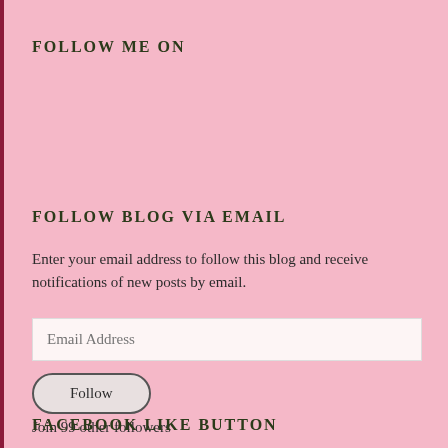FOLLOW ME ON
FOLLOW BLOG VIA EMAIL
Enter your email address to follow this blog and receive notifications of new posts by email.
Email Address
Follow
Join 99 other followers
FACEBOOK LIKE BUTTON